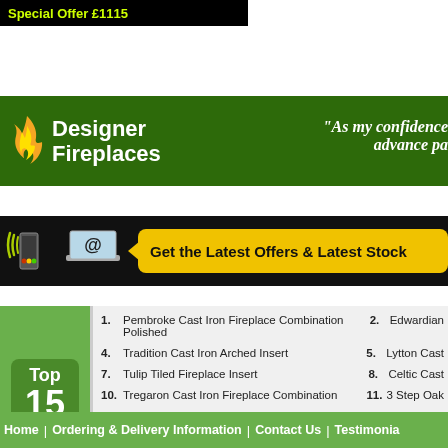Special Offer £1115
[Figure (logo): Designer Fireplaces logo with flame icon and green banner, with testimonial quote 'As my confidence advance pa...']
[Figure (infographic): Black bar with signal icon, email/laptop icon, and yellow speech bubble saying 'Get the Latest Offers & Latest Stock']
1. Pembroke Cast Iron Fireplace Combination Polished
2. Edwardian...
4. Tradition Cast Iron Arched Insert
5. Lytton Cast...
7. Tulip Tiled Fireplace Insert
8. Celtic Cast...
10. Tregaron Cast Iron Fireplace Combination
11. 3 Step Oak...
13. Amsterdam Cast Iron Fireplace Combination
14. Nottage Ca...
Home  |  Ordering & Delivery Information  |  Contact Us  |  Testimonia...